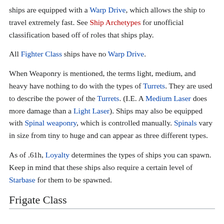ships are equipped with a Warp Drive, which allows the ship to travel extremely fast. See Ship Archetypes for unofficial classification based off of roles that ships play.
All Fighter Class ships have no Warp Drive.
When Weaponry is mentioned, the terms light, medium, and heavy have nothing to do with the types of Turrets. They are used to describe the power of the Turrets. (I.E. A Medium Laser does more damage than a Light Laser). Ships may also be equipped with Spinal weaponry, which is controlled manually. Spinals vary in size from tiny to huge and can appear as three different types.
As of .61h, Loyalty determines the types of ships you can spawn. Keep in mind that these ships also require a certain level of Starbase for them to be spawned.
Frigate Class